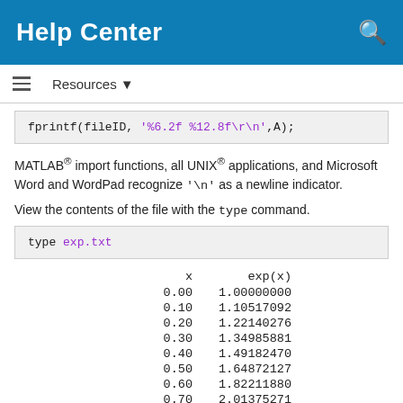Help Center
Resources
fprintf(fileID, '%6.2f %12.8f\r\n',A);
MATLAB® import functions, all UNIX® applications, and Microsoft Word and WordPad recognize '\n' as a newline indicator.
View the contents of the file with the type command.
type exp.txt
| x | exp(x) |
| --- | --- |
| 0.00 | 1.00000000 |
| 0.10 | 1.10517092 |
| 0.20 | 1.22140276 |
| 0.30 | 1.34985881 |
| 0.40 | 1.49182470 |
| 0.50 | 1.64872127 |
| 0.60 | 1.82211880 |
| 0.70 | 2.01375271 |